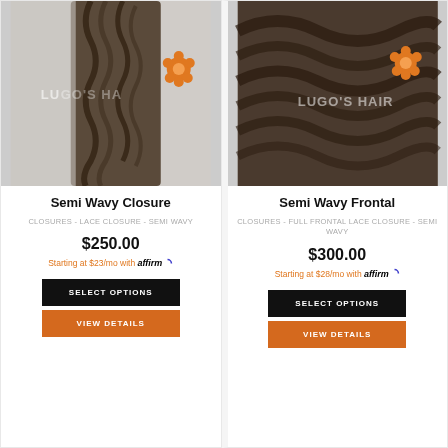[Figure (photo): Photo of semi wavy hair closure product with Lugo's Hair watermark and orange flower logo]
Semi Wavy Closure
CLOSURES - LACE CLOSURE - SEMI WAVY
$250.00
Starting at $23/mo with affirm
SELECT OPTIONS
VIEW DETAILS
[Figure (photo): Photo of semi wavy frontal hair product with Lugo's Hair watermark and orange flower logo]
Semi Wavy Frontal
CLOSURES - FULL FRONTAL LACE CLOSURE - SEMI WAVY
$300.00
Starting at $28/mo with affirm
SELECT OPTIONS
VIEW DETAILS